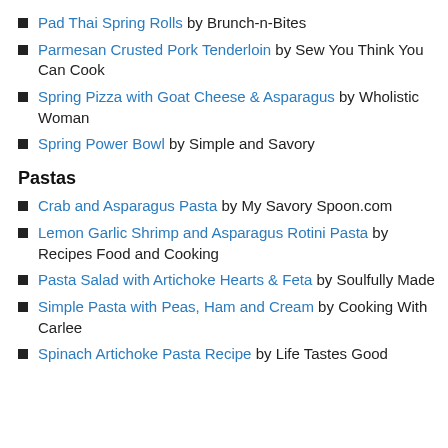Pad Thai Spring Rolls by Brunch-n-Bites
Parmesan Crusted Pork Tenderloin by Sew You Think You Can Cook
Spring Pizza with Goat Cheese & Asparagus by Wholistic Woman
Spring Power Bowl by Simple and Savory
Pastas
Crab and Asparagus Pasta by My Savory Spoon.com
Lemon Garlic Shrimp and Asparagus Rotini Pasta by Recipes Food and Cooking
Pasta Salad with Artichoke Hearts & Feta by Soulfully Made
Simple Pasta with Peas, Ham and Cream by Cooking With Carlee
Spinach Artichoke Pasta Recipe by Life Tastes Good